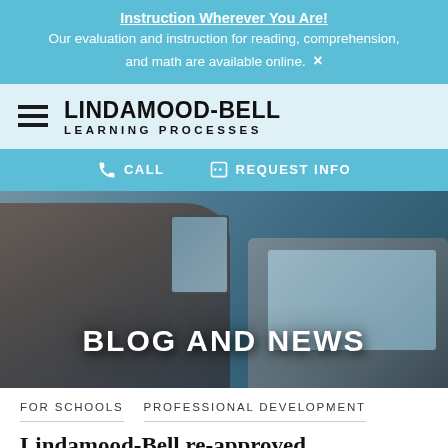Instruction Wherever You Are! Our evaluation and instruction for reading, comprehension, and math are available online.
[Figure (logo): Lindamood-Bell Learning Processes logo with hamburger menu icon]
CALL   REQUEST INFO
[Figure (photo): Person using a smartphone and laptop, with 'BLOG AND NEWS' text overlay]
FOR SCHOOLS   PROFESSIONAL DEVELOPMENT
Lindamood-Bell re-approved